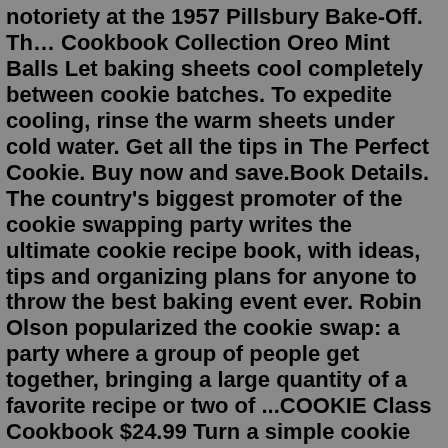notoriety at the 1957 Pillsbury Bake-Off. Th… Cookbook Collection Oreo Mint Balls Let baking sheets cool completely between cookie batches. To expedite cooling, rinse the warm sheets under cold water. Get all the tips in The Perfect Cookie. Buy now and save.Book Details. The country's biggest promoter of the cookie swapping party writes the ultimate cookie recipe book, with ideas, tips and organizing plans for anyone to throw the best baking event ever. Robin Olson popularized the cookie swap: a party where a group of people get together, bringing a large quantity of a favorite recipe or two of ...COOKIE Class Cookbook $24.99 Turn a simple cookie recipe and one buttercream icing recipe into 120 delicious, decorative, and dazzling treats for any occasion with this exciting and colorful cookie decorating book illustrated with 100 stunning color photos throughout. In stock COOKIE Class Cookbook quantity Add to cartHard cover, full color, 200+ page professional cookbook, smooth glossy pages that lay flat so you can follow each recipe